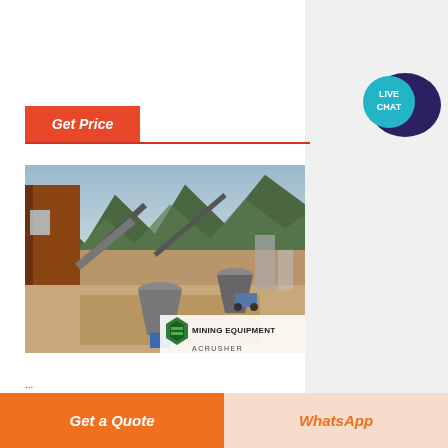[Figure (logo): Live Chat speech bubble widget in teal and dark purple]
Get Price
[Figure (photo): Outdoor mining equipment site with crushers, conveyors, and machinery against a mountainous backdrop. Brand overlay reads MINING EQUIPMENT / ACRUSHER with green chevron logo.]
...
Get a Quote
WhatsApp